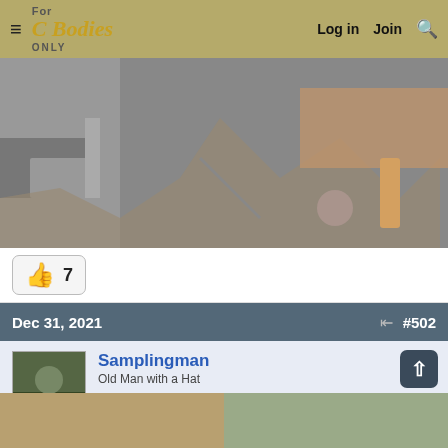For C Bodies Only | Log in | Join
[Figure (photo): Close-up photo of automotive body repair/metalwork area with tools visible]
7 (likes)
Dec 31, 2021  #502
Samplingman
Old Man with a Hat
Joined: Apr 18, 2012
Messages: 5,525
Reaction score: 5,893
Location: South Jersey
Next, it was time to start on the left side quarter and door.
[Figure (photo): Bottom strip showing automotive body repair photos]